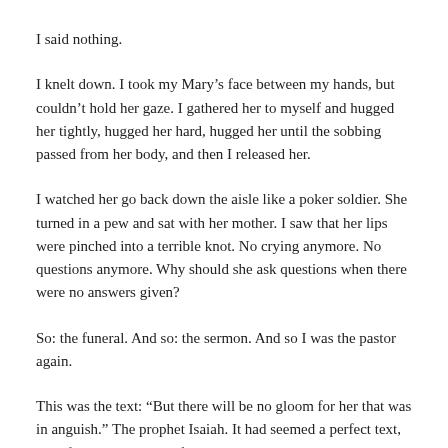I said nothing.
I knelt down. I took my Mary’s face between my hands, but couldn’t hold her gaze. I gathered her to myself and hugged her tightly, hugged her hard, hugged her until the sobbing passed from her body, and then I released her.
I watched her go back down the aisle like a poker soldier. She turned in a pew and sat with her mother. I saw that her lips were pinched into a terrible knot. No crying anymore. No questions anymore. Why should she ask questions when there were no answers given?
So: the funeral. And so: the sermon. And so I was the pastor again.
This was the text: “But there will be no gloom for her that was in anguish.” The prophet Isaiah. It had seemed a perfect text, both for the season and for Odessa. “The people who walked in darkness have seen a